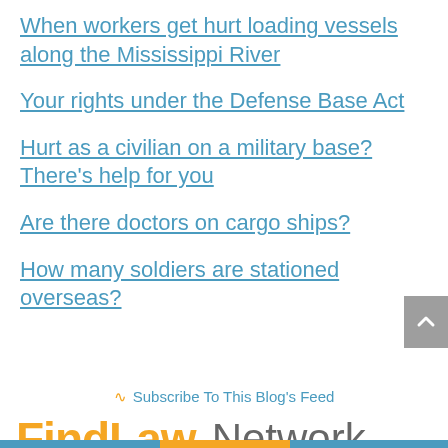When workers get hurt loading vessels along the Mississippi River
Your rights under the Defense Base Act
Hurt as a civilian on a military base? There's help for you
Are there doctors on cargo ships?
How many soldiers are stationed overseas?
Subscribe To This Blog's Feed
[Figure (logo): FindLaw Network logo with orange FindLaw text and gray Network text]